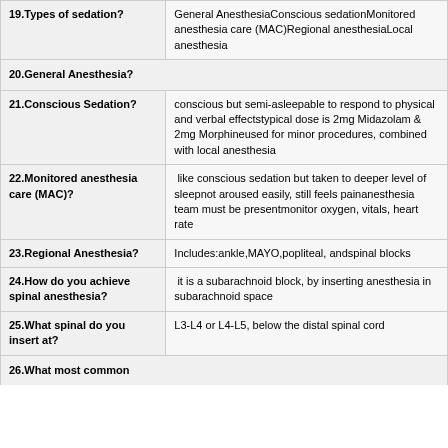| Question | Answer |
| --- | --- |
| 19.Types of sedation? | General AnesthesiaConscious sedationMonitored anesthesia care (MAC)Regional anesthesiaLocal anesthesia |
| 20.General Anesthesia? |  |
| 21.Conscious Sedation? | conscious but semi-asleepable to respond to physical and verbal effectstypical dose is 2mg Midazolam & 2mg Morphineused for minor procedures, combined with local anesthesia |
| 22.Monitored anesthesia care (MAC)? | like conscious sedation but taken to deeper level of sleepnot aroused easily, still feels painanesthesia team must be presentmonitor oxygen, vitals, heart rate |
| 23.Regional Anesthesia? | Includes:ankle,MAYO,popliteal, andspinal blocks |
| 24.How do you achieve spinal anesthesia? | it is a subarachnoid block, by inserting anesthesia in subarachnoid space |
| 25.What spinal do you insert at? | L3-L4 or L4-L5, below the distal spinal cord |
| 26.What most common |  |